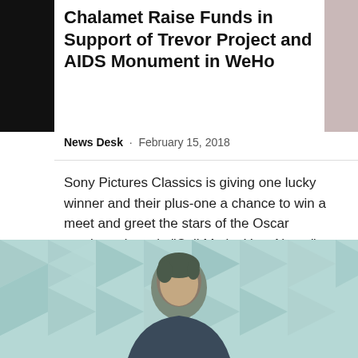Chalamet Raise Funds in Support of Trevor Project and AIDS Monument in WeHo
News Desk · February 15, 2018
Sony Pictures Classics is giving one lucky winner and their plus-one a chance to win a meet and greet the stars of the Oscar nominated movie "Call Me by Your Name", Armie Hammer and Timothée Chalamet. It's all made...
[Figure (other): Black button with white text reading 'Read more']
[Figure (photo): Photo of a man with short hair in front of a geometric light-colored wall pattern]